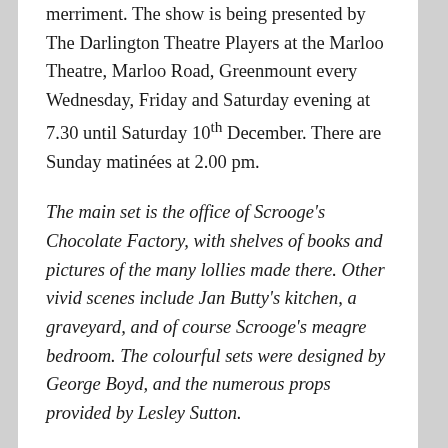merriment. The show is being presented by The Darlington Theatre Players at the Marloo Theatre, Marloo Road, Greenmount every Wednesday, Friday and Saturday evening at 7.30 until Saturday 10th December. There are Sunday matinées at 2.00 pm.
The main set is the office of Scrooge's Chocolate Factory, with shelves of books and pictures of the many lollies made there. Other vivid scenes include Jan Butty's kitchen, a graveyard, and of course Scrooge's meagre bedroom. The colourful sets were designed by George Boyd, and the numerous props provided by Lesley Sutton.
The full sized – 3-metre – flats and furnishings for each scene were changed silently and speedily